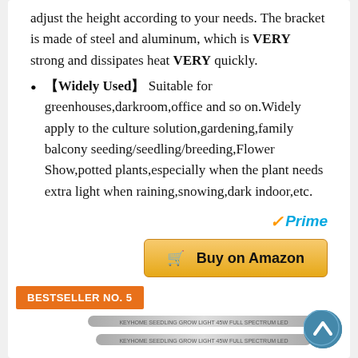adjust the height according to your needs. The bracket is made of steel and aluminum, which is VERY strong and dissipates heat VERY quickly.
【Widely Used】 Suitable for greenhouses,darkroom,office and so on.Widely apply to the culture solution,gardening,family balcony seeding/seedling/breeding,Flower Show,potted plants,especially when the plant needs extra light when raining,snowing,dark indoor,etc.
[Figure (logo): Amazon Prime logo with orange checkmark and blue Prime text]
[Figure (other): Buy on Amazon button with shopping cart icon]
(Last update on 2022-08-25 at 11:04 ,UTC)
BESTSELLER NO. 5
[Figure (photo): Product image showing LED grow light bars]